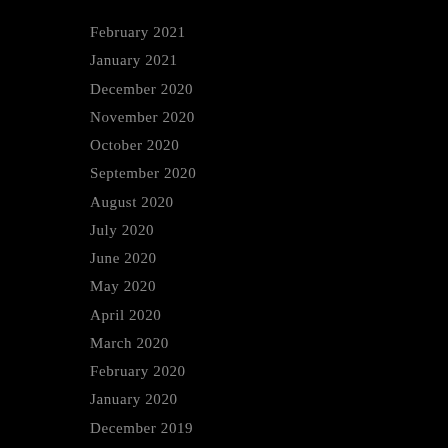February 2021
January 2021
December 2020
November 2020
October 2020
September 2020
August 2020
July 2020
June 2020
May 2020
April 2020
March 2020
February 2020
January 2020
December 2019
November 2019
October 2019
September 2019
August 2019
July 2019
June 2019
May 2019